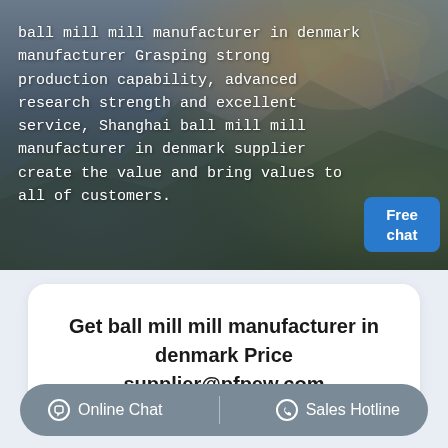[Figure (photo): Aerial view of an open-pit mine or quarry with heavy machinery, dark rocky terrain, and excavation equipment visible from above.]
ball mill mill manufacturer in denmark manufacturer Grasping strong production capability, advanced research strength and excellent service, Shanghai ball mill mill manufacturer in denmark supplier create the value and bring values to all of customers.
Get ball mill mill manufacturer in denmark Price supplier@pfpew.com
Online Chat   Sales Hotline